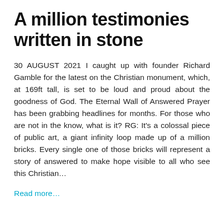A million testimonies written in stone
30 AUGUST 2021  I caught up with founder Richard Gamble for the latest on the Christian monument, which, at 169ft tall, is set to be loud and proud about the goodness of God. The Eternal Wall of Answered Prayer has been grabbing headlines for months. For those who are not in the know, what is it? RG: It’s a colossal piece of public art, a giant infinity loop made up of a million bricks. Every single one of those bricks will represent a story of answered to make hope visible to all who see this Christian…
Read more…